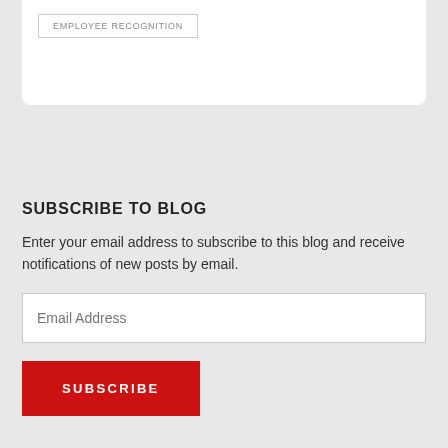EMPLOYEE RECOGNITION
SUBSCRIBE TO BLOG
Enter your email address to subscribe to this blog and receive notifications of new posts by email.
Email Address
SUBSCRIBE